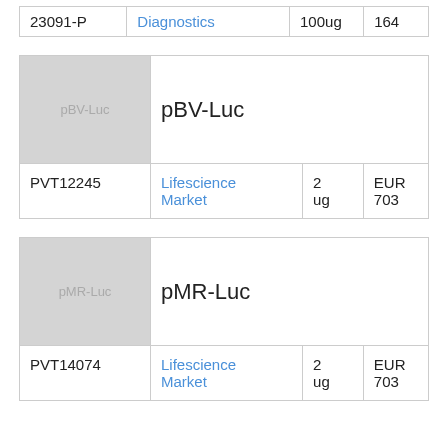| 23091-P | Diagnostics | 100ug | 164 |
| [image: pBV-Luc] | pBV-Luc |  |  |
| --- | --- | --- | --- |
| PVT12245 | Lifescience Market | 2 ug | EUR 703 |
| [image: pMR-Luc] | pMR-Luc |  |  |
| --- | --- | --- | --- |
| PVT14074 | Lifescience Market | 2 ug | EUR 703 |